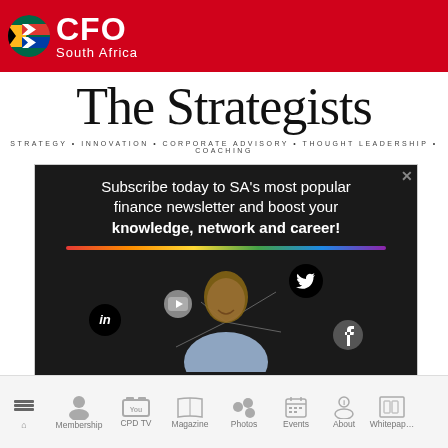[Figure (logo): CFO South Africa logo on red header bar with South African flag circle icon]
[Figure (illustration): The Strategists cursive script logo with tagline: STRATEGY • INNOVATION • CORPORATE ADVISORY • THOUGHT LEADERSHIP • COACHING]
[Figure (photo): Advertisement: Subscribe today to SA's most popular finance newsletter and boost your knowledge, network and career! Dark background with smiling man and social media icons (LinkedIn, YouTube, Twitter, Facebook)]
Home  Membership  CPD TV  Magazine  Photos  Events  About  Whitepaper